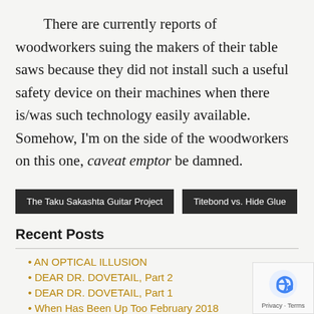There are currently reports of woodworkers suing the makers of their table saws because they did not install such a useful safety device on their machines when there is/was such technology easily available. Somehow, I'm on the side of the woodworkers on this one, caveat emptor be damned.
The Taku Sakashta Guitar Project
Titebond vs. Hide Glue
Recent Posts
AN OPTICAL ILLUSION
DEAR DR. DOVETAIL, Part 2
DEAR DR. DOVETAIL, Part 1
When Has Been Up Too February 2018